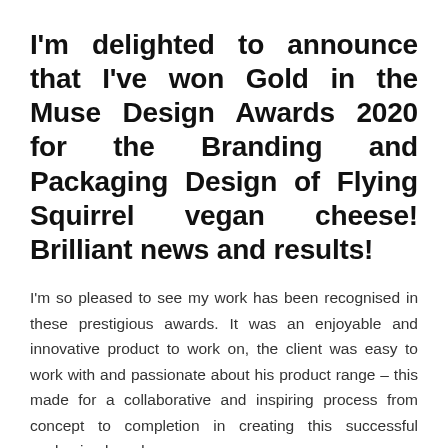I'm delighted to announce that I've won Gold in the Muse Design Awards 2020 for the Branding and Packaging Design of Flying Squirrel vegan cheese! Brilliant news and results!
I'm so pleased to see my work has been recognised in these prestigious awards. It was an enjoyable and innovative product to work on, the client was easy to work with and passionate about his product range – this made for a collaborative and inspiring process from concept to completion in creating this successful packaging brand.